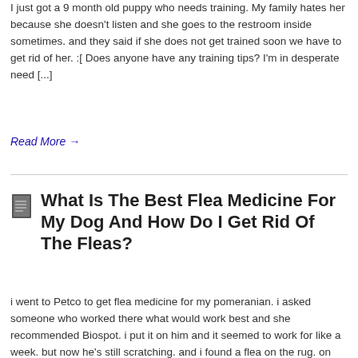I just got a 9 month old puppy who needs training. My family hates her because she doesn't listen and she goes to the restroom inside sometimes. and they said if she does not get trained soon we have to get rid of her. :[ Does anyone have any training tips? I'm in desperate need [...]
Read More →
What Is The Best Flea Medicine For My Dog And How Do I Get Rid Of The Fleas?
i went to Petco to get flea medicine for my pomeranian. i asked someone who worked there what would work best and she recommended Biospot. i put it on him and it seemed to work for like a week. but now he's still scratching. and i found a flea on the rug. on my bed [...]